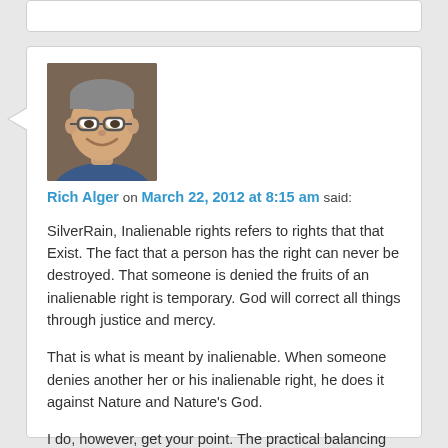[Figure (photo): Profile photo of Rich Alger, a middle-aged man with glasses, smiling, wearing a blue shirt.]
Rich Alger on March 22, 2012 at 8:15 am said:
SilverRain, Inalienable rights refers to rights that that Exist. The fact that a person has the right can never be destroyed. That someone is denied the fruits of an inalienable right is temporary. God will correct all things through justice and mercy.
That is what is meant by inalienable. When someone denies another her or his inalienable right, he does it against Nature and Nature’s God.
I do, however, get your point. The practical balancing of these inalienable rights is and will continue to be messy.